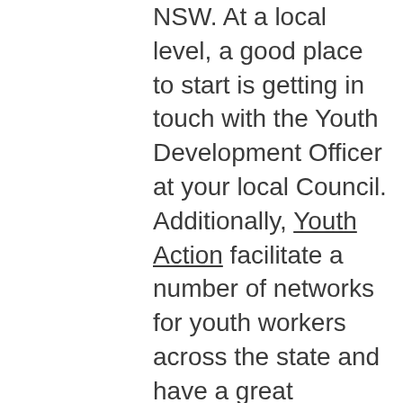NSW. At a local level, a good place to start is getting in touch with the Youth Development Officer at your local Council. Additionally, Youth Action facilitate a number of networks for youth workers across the state and have a great understanding of other